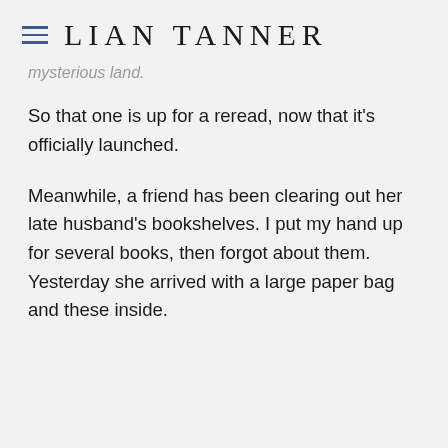LIAN TANNER
mysterious land.
So that one is up for a reread, now that it's officially launched.
Meanwhile, a friend has been clearing out her late husband's bookshelves. I put my hand up for several books, then forgot about them. Yesterday she arrived with a large paper bag and these inside.